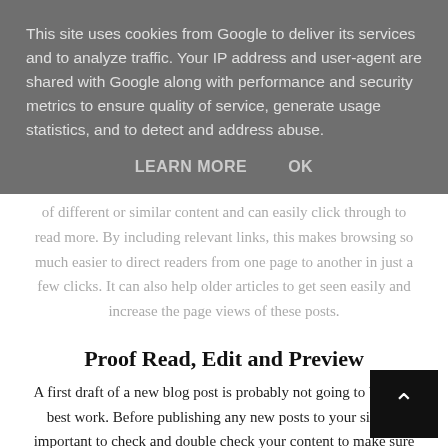This site uses cookies from Google to deliver its services and to analyze traffic. Your IP address and user-agent are shared with Google along with performance and security metrics to ensure quality of service, generate usage statistics, and to detect and address abuse.
LEARN MORE   OK
through to read more. By including relevant links, this makes browsing so much easier to direct readers from one page to another in just a few clicks. It can also help older articles to get seen easily and increase the page views of these posts.
Proof Read, Edit and Preview
A first draft of a new blog post is probably not going to be your best work. Before publishing any new posts to your site it's important to check and double check your content to make sure there are no errors or mistakes.